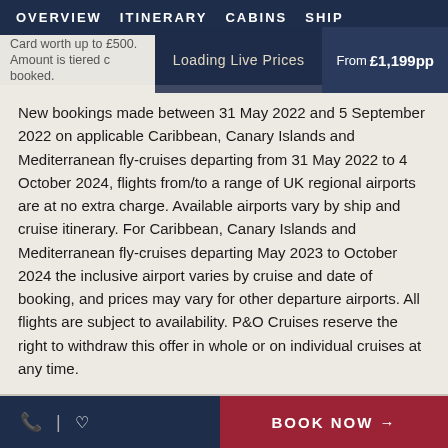OVERVIEW  ITINERARY  CABINS  SHIP
Card worth up to £500. Amount is tiered c booked.  Loading Live Prices  From £1,199pp
New bookings made between 31 May 2022 and 5 September 2022 on applicable Caribbean, Canary Islands and Mediterranean fly-cruises departing from 31 May 2022 to 4 October 2024, flights from/to a range of UK regional airports are at no extra charge. Available airports vary by ship and cruise itinerary. For Caribbean, Canary Islands and Mediterranean fly-cruises departing May 2023 to October 2024 the inclusive airport varies by cruise and date of booking, and prices may vary for other departure airports. All flights are subject to availability. P&O Cruises reserve the right to withdraw this offer in whole or on individual cruises at any time.
BOOK NOW →